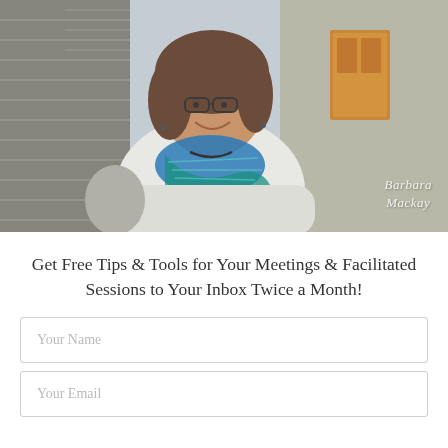[Figure (photo): Portrait photo of Barbara Mackay, a woman with shoulder-length brown hair and glasses, wearing a white cardigan and blue-green scarf, smiling, standing in an alley with a brick wall and wooden door in the background. A cursive watermark reads 'Barbara Mackay' in the lower right corner.]
Get Free Tips & Tools for Your Meetings & Facilitated Sessions to Your Inbox Twice a Month!
Your Name
Your Email